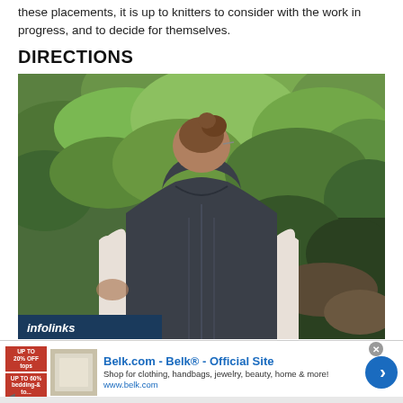these placements, it is up to knitters to consider with the work in progress, and to decide for themselves.
DIRECTIONS
[Figure (photo): Person seen from behind wearing a dark grey knitted hooded vest over a white long-sleeve shirt, standing in front of green leafy bushes/trees outdoors.]
infolinks
Belk.com - Belk® - Official Site
Shop for clothing, handbags, jewelry, beauty, home & more!
www.belk.com